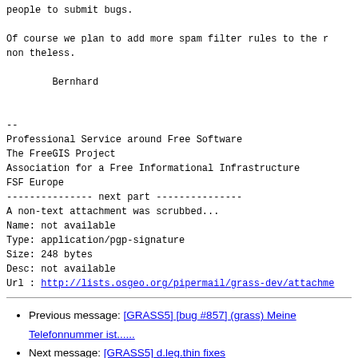people to submit bugs.

Of course we plan to add more spam filter rules to the r
non theless.

        Bernhard


--
Professional Service around Free Software
The FreeGIS Project
Association for a Free Informational Infrastructure
FSF Europe
--------------- next part ---------------
A non-text attachment was scrubbed...
Name: not available
Type: application/pgp-signature
Size: 248 bytes
Desc: not available
Url : http://lists.osgeo.org/pipermail/grass-dev/attachme
Previous message: [GRASS5] [bug #857] (grass) Meine Telefonnummer ist......
Next message: [GRASS5] d.leg.thin fixes
Messages sorted by: [ date ] [ thread ] [ subject ] [ author ]
More information about the grass-dev mailing list